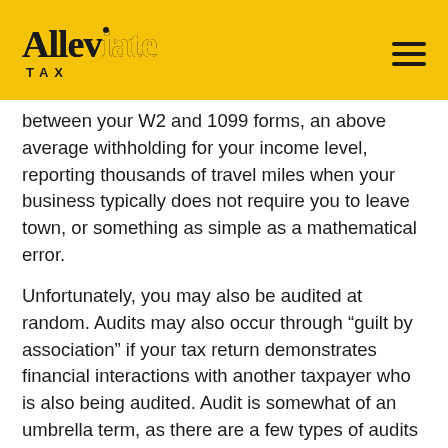Alleviate TAX
between your W2 and 1099 forms, an above average withholding for your income level, reporting thousands of travel miles when your business typically does not require you to leave town, or something as simple as a mathematical error.
Unfortunately, you may also be audited at random. Audits may also occur through “guilt by association” if your tax return demonstrates financial interactions with another taxpayer who is also being audited. Audit is somewhat of an umbrella term, as there are a few types of audits that vary in severity and the amount of documentation required by the IRS.